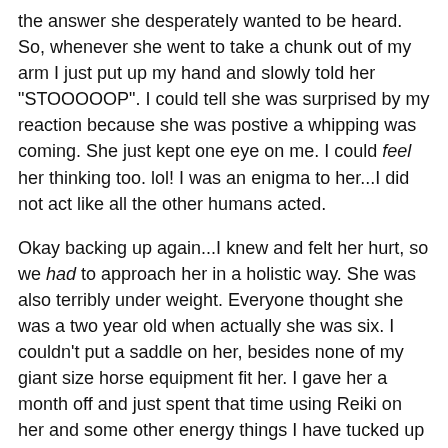the answer she desperately wanted to be heard. So, whenever she went to take a chunk out of my arm I just put up my hand and slowly told her "STOOOOOP". I could tell she was surprised by my reaction because she was postive a whipping was coming. She just kept one eye on me. I could feel her thinking too. lol! I was an enigma to her...I did not act like all the other humans acted.
Okay backing up again...I knew and felt her hurt, so we had to approach her in a holistic way. She was also terribly under weight. Everyone thought she was a two year old when actually she was six. I couldn't put a saddle on her, besides none of my giant size horse equipment fit her. I gave her a month off and just spent that time using Reiki on her and some other energy things I have tucked up  my sleeve. I spent every night sending her Reiki and talking to her, telling her I would never hurt her etc. Slowly she began to change and I could brush her, only if I did it very softly.
In the beginning, tying her up to brush her was impossible,